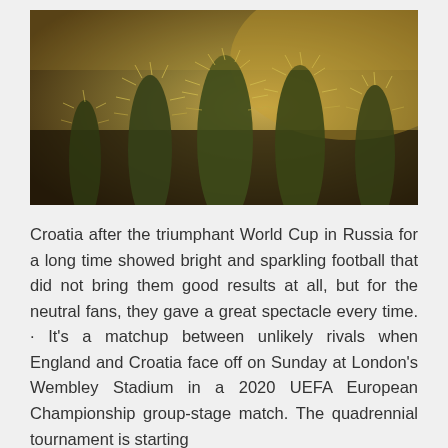[Figure (photo): Close-up photograph of cactus plants with golden spines backlit by warm sunlight, showing multiple columnar cacti with fuzzy yellow-green spines against a warm bokeh background.]
Croatia after the triumphant World Cup in Russia for a long time showed bright and sparkling football that did not bring them good results at all, but for the neutral fans, they gave a great spectacle every time. · It's a matchup between unlikely rivals when England and Croatia face off on Sunday at London's Wembley Stadium in a 2020 UEFA European Championship group-stage match. The quadrennial tournament is starting